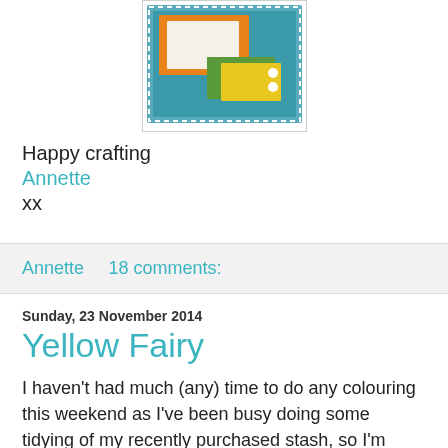[Figure (illustration): A colorful craft card layout sketch showing nested rectangles in teal, orange, green, and yellow with a white rectangle in the center and two small white circles, on a patterned border background.]
Happy crafting
Annette
xx
Annette    18 comments:
Sunday, 23 November 2014
Yellow Fairy
I haven't had much (any) time to do any colouring this weekend as I've been busy doing some tidying of my recently purchased stash, so I'm sharing a card made with an image I coloured a while ago.  It's a bit of a summery image which makes a change from my current festive